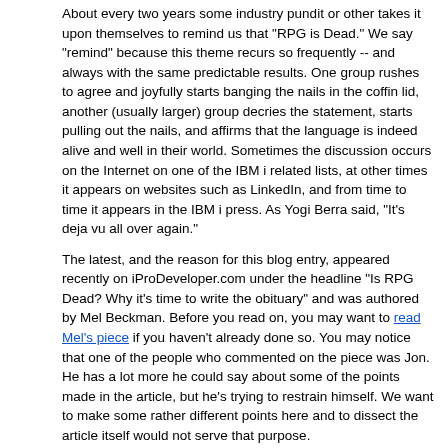About every two years some industry pundit or other takes it upon themselves to remind us that "RPG is Dead." We say "remind" because this theme recurs so frequently -- and always with the same predictable results. One group rushes to agree and joyfully starts banging the nails in the coffin lid, another (usually larger) group decries the statement, starts pulling out the nails, and affirms that the language is indeed alive and well in their world. Sometimes the discussion occurs on the Internet on one of the IBM i related lists, at other times it appears on websites such as LinkedIn, and from time to time it appears in the IBM i press. As Yogi Berra said, "It's deja vu all over again."
The latest, and the reason for this blog entry, appeared recently on iProDeveloper.com under the headline "Is RPG Dead? Why it's time to write the obituary" and was authored by Mel Beckman. Before you read on, you may want to read Mel's piece if you haven't already done so. You may notice that one of the people who commented on the piece was Jon. He has a lot more he could say about some of the points made in the article, but he's trying to restrain himself. We want to make some rather different points here and to dissect the article itself would not serve that purpose.
It seems to us that articles such as this only serve to harm the community. We are a (relatively) small group, and the vast majority of us still believe that IBM i on Power is the single best business system out there -- period. So why do we continue to make such negative public critiques as this? It seems to us that the only thing these discussions serve to do is to help reinforce all of the negative things that our "competition" like to say about us. "Look, even IBM i experts think RPG is dead." And of course if you say RPG is dead then you have pretty much condemned the platform. Make no mistake - that is exactly how the competition uses such articles. After all, a very large percentage of application code running on IBM i systems today is written in RPG. So connect the dots -- from an IBM i